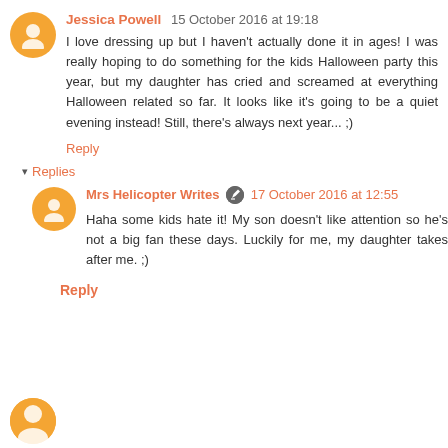Jessica Powell  15 October 2016 at 19:18
I love dressing up but I haven't actually done it in ages! I was really hoping to do something for the kids Halloween party this year, but my daughter has cried and screamed at everything Halloween related so far. It looks like it's going to be a quiet evening instead! Still, there's always next year... ;)
Reply
Replies
Mrs Helicopter Writes  17 October 2016 at 12:55
Haha some kids hate it! My son doesn't like attention so he's not a big fan these days. Luckily for me, my daughter takes after me. ;)
Reply